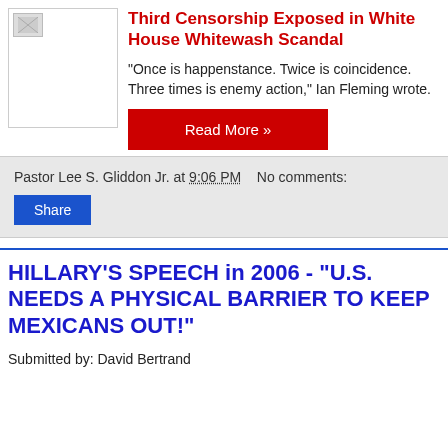[Figure (photo): Small broken image placeholder in top left]
Third Censorship Exposed in White House Whitewash Scandal
"Once is happenstance. Twice is coincidence. Three times is enemy action," Ian Fleming wrote.
Read More »
Pastor Lee S. Gliddon Jr. at 9:06 PM   No comments:
Share
HILLARY'S SPEECH in 2006 - "U.S. NEEDS A PHYSICAL BARRIER TO KEEP MEXICANS OUT!"
Submitted by: David Bertrand